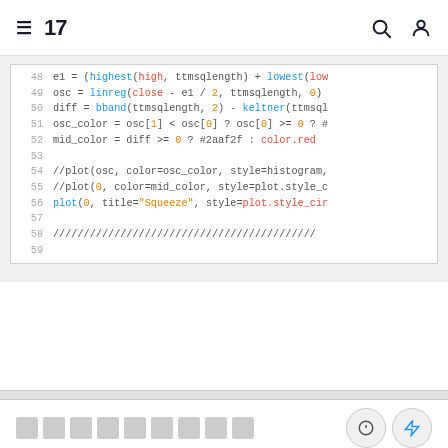TradingView header with menu, logo, search and user icons
[Figure (screenshot): Code editor screenshot showing Pine Script lines 48-59 with syntax highlighting. Line 48: e1 = (highest(high, ttmsqlength) + lowest(low...; Line 49: osc = linreg(close - e1 / 2, ttmsqlength, 0); Line 50: diff = bband(ttmsqlength, 2) - keltner(ttmsql...; Line 51: osc_color = osc[1] < osc[0] ? osc[0] >= 0 ? #...; Line 52: mid_color = diff >= 0 ? #2aaf2f : color.red; Line 53: (blank); Line 54: //plot(osc, color=osc_color, style=histogram,...; Line 55: //plot(0, color=mid_color, style=plot.style_c...; Line 56: plot(0, title="Squeeze", style=plot.style_cir...; Line 57: (blank); Line 58: ///////////...; Line 59: (blank)]
Footer with placeholder boxes and icon buttons